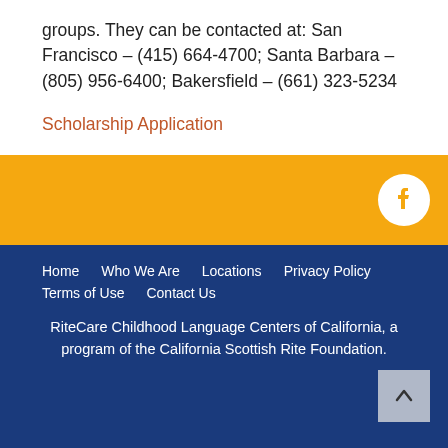groups. They can be contacted at: San Francisco – (415) 664-4700; Santa Barbara – (805) 956-6400; Bakersfield – (661) 323-5234
Scholarship Application
Home | Who We Are | Locations | Privacy Policy | Terms of Use | Contact Us
RiteCare Childhood Language Centers of California, a program of the California Scottish Rite Foundation.